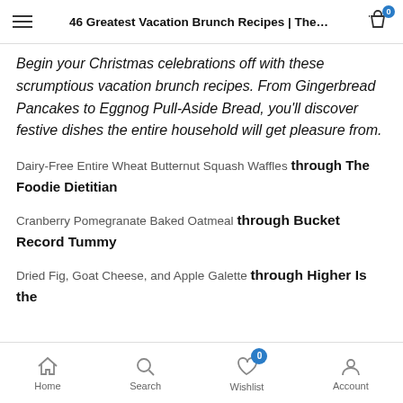46 Greatest Vacation Brunch Recipes | The...
Begin your Christmas celebrations off with these scrumptious vacation brunch recipes. From Gingerbread Pancakes to Eggnog Pull-Aside Bread, you'll discover festive dishes the entire household will get pleasure from.
Dairy-Free Entire Wheat Butternut Squash Waffles through The Foodie Dietitian
Cranberry Pomegranate Baked Oatmeal through Bucket Record Tummy
Dried Fig, Goat Cheese, and Apple Galette through Higher Is the
Home  Search  Wishlist  Account